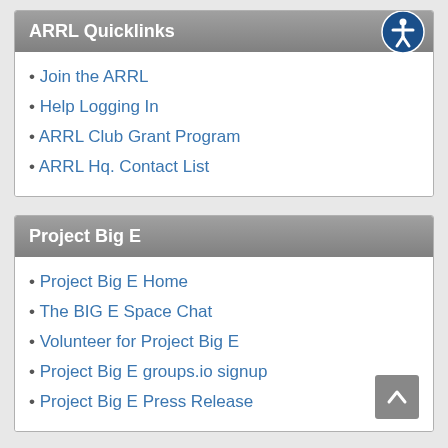ARRL Quicklinks
Join the ARRL
Help Logging In
ARRL Club Grant Program
ARRL Hq. Contact List
Project Big E
Project Big E Home
The BIG E Space Chat
Volunteer for Project Big E
Project Big E groups.io signup
Project Big E Press Release